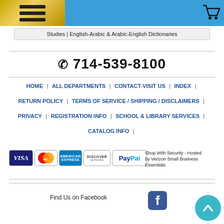Studies | English-Arabic & Arabic-English Dictionaries
☎ 714-539-8100
HOME | ALL DEPARTMENTS | CONTACT-VISIT US | INDEX |
RETURN POLICY | TERMS OF SERVICE / SHIPPING / DISCLAIMERS |
PRIVACY | REGISTRATION INFO | SCHOOL & LIBRARY SERVICES |
CATALOG INFO |
[Figure (other): Payment method logos: Visa, MasterCard, American Express, Discover, PayPal]
Shop With Security - Hosted by Verizon Small Business Essentials
Find Us on Facebook
[Figure (logo): Facebook logo icon (blue rounded square with white F)]
[Figure (other): Back to top button - teal circle with upward chevron arrow]